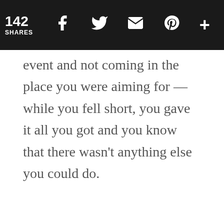142 SHARES
event and not coming in the place you were aiming for — while you fell short, you gave it all you got and you know that there wasn't anything else you could do.